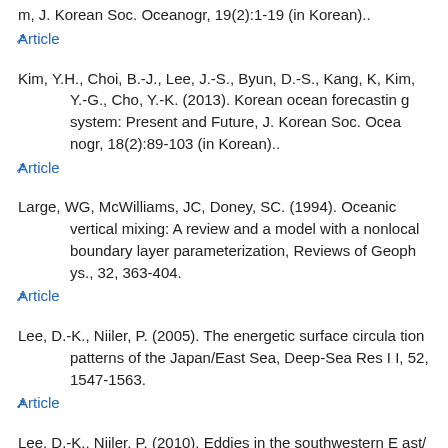m, J. Korean Soc. Oceanogr, 19(2):1-19 (in Korean).. Article
Kim, Y.H., Choi, B.-J., Lee, J.-S., Byun, D.-S., Kang, K, Kim, Y.-G., Cho, Y.-K. (2013). Korean ocean forecasting system: Present and Future, J. Korean Soc. Oceanogr, 18(2):89-103 (in Korean).. Article
Large, WG, McWilliams, JC, Doney, SC. (1994). Oceanic vertical mixing: A review and a model with a nonlocal boundary layer parameterization, Reviews of Geophys., 32, 363-404. Article
Lee, D.-K., Niiler, P. (2005). The energetic surface circulation patterns of the Japan/East Sea, Deep-Sea Res II, 52, 1547-1563. Article
Lee, D.-K., Niiler, P. (2010). Eddies in the southwestern East/ Japan Sea, Deep Sea Res Part I, 57, 1233-1242.
Lee, J.-H., Kim, T.-H., Moon, J.-H. (2016). Application of